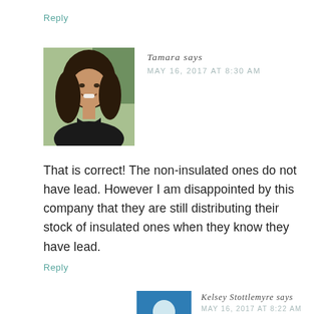Reply
[Figure (photo): Profile photo of Tamara — woman with long curly brown hair, smiling, wearing a dark top, photographed outdoors]
Tamara says
MAY 16, 2017 AT 8:30 AM
That is correct! The non-insulated ones do not have lead. However I am disappointed by this company that they are still distributing their stock of insulated ones when they know they have lead.
Reply
[Figure (photo): Profile photo of Kelsey Stottlemyre — partially visible, blue background]
Kelsey Stottlemyre says
MAY 16, 2017 AT 8:22 AM